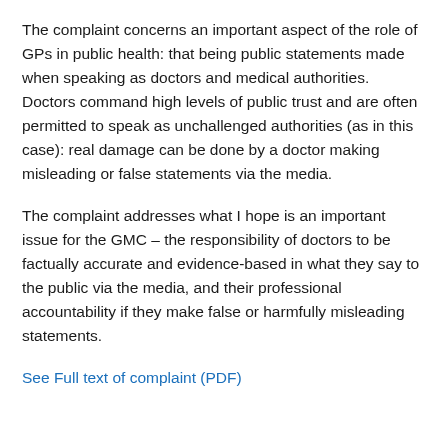The complaint concerns an important aspect of the role of GPs in public health: that being public statements made when speaking as doctors and medical authorities. Doctors command high levels of public trust and are often permitted to speak as unchallenged authorities (as in this case): real damage can be done by a doctor making misleading or false statements via the media.
The complaint addresses what I hope is an important issue for the GMC – the responsibility of doctors to be factually accurate and evidence-based in what they say to the public via the media, and their professional accountability if they make false or harmfully misleading statements.
See Full text of complaint (PDF)